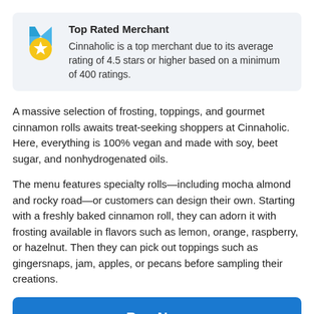Top Rated Merchant
Cinnaholic is a top merchant due to its average rating of 4.5 stars or higher based on a minimum of 400 ratings.
A massive selection of frosting, toppings, and gourmet cinnamon rolls awaits treat-seeking shoppers at Cinnaholic. Here, everything is 100% vegan and made with soy, beet sugar, and nonhydrogenated oils.
The menu features specialty rolls—including mocha almond and rocky road—or customers can design their own. Starting with a freshly baked cinnamon roll, they can adorn it with frosting available in flavors such as lemon, orange, raspberry, or hazelnut. Then they can pick out toppings such as gingersnaps, jam, apples, or pecans before sampling their creations.
Buy Now
Sale ends in: 13:11:46